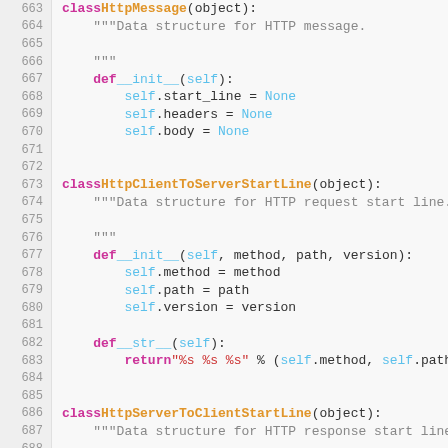[Figure (screenshot): Python source code editor showing class definitions for HttpMessage, HttpClientToServerStartLine, and HttpServerToClientStartLine, with line numbers 663-688.]